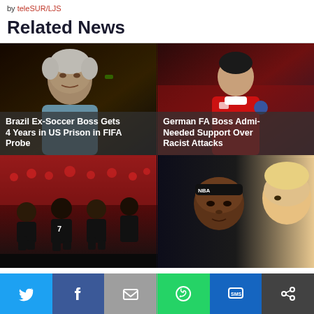by teleSUR/LJS
Related News
[Figure (photo): Older man with white hair at night, caption: Brazil Ex-Soccer Boss Gets 4 Years in US Prison in FIFA Probe]
[Figure (photo): Soccer player in red Arsenal jersey, caption: German FA Boss Admi- Needed Support Over Racist Attacks]
[Figure (photo): NFL players kneeling during national anthem with crowd behind]
[Figure (photo): LeBron James and another person, partial view]
[Figure (infographic): Social share bar with Twitter, Facebook, Email, WhatsApp, SMS, and another icon buttons]